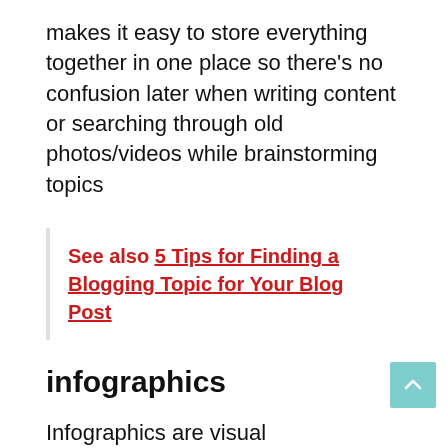makes it easy to store everything together in one place so there's no confusion later when writing content or searching through old photos/videos while brainstorming topics
See also  5 Tips for Finding a Blogging Topic for Your Blog Post
infographics
Infographics are visual representations of information. They're often used to explain a difficult topic, or to simplify a complex process.
Why are infographics so popular? It's because